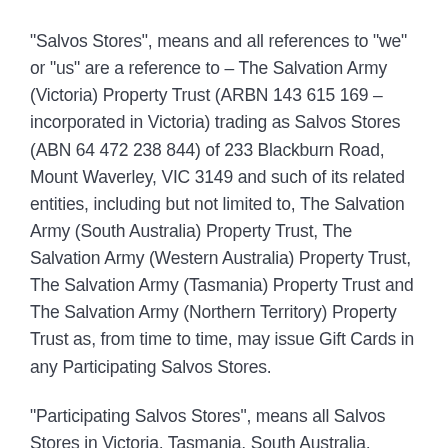"Salvos Stores", means and all references to "we" or "us" are a reference to – The Salvation Army (Victoria) Property Trust (ARBN 143 615 169 – incorporated in Victoria) trading as Salvos Stores (ABN 64 472 238 844) of 233 Blackburn Road, Mount Waverley, VIC 3149 and such of its related entities, including but not limited to, The Salvation Army (South Australia) Property Trust, The Salvation Army (Western Australia) Property Trust, The Salvation Army (Tasmania) Property Trust and The Salvation Army (Northern Territory) Property Trust as, from time to time, may issue Gift Cards in any Participating Salvos Stores.
"Participating Salvos Stores", means all Salvos Stores in Victoria, Tasmania, South Australia, Western Australia and Northern Territory but does